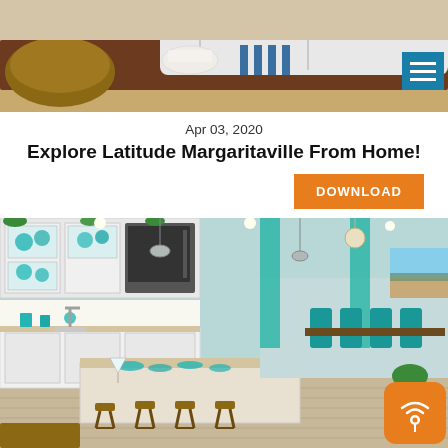[Figure (photo): Top portion of an interior living room with a wooden coffee table, white sofa, wicker furniture, and blue and white striped accents]
Apr 03, 2020
Explore Latitude Margaritaville From Home!
[Figure (other): Orange DOWNLOAD button]
[Figure (photo): Bright open-plan kitchen and dining area with white cabinetry, teal/turquoise accents, pendant lights, kitchen island with bar stools, and a dining area with aqua chairs in the background]
[Figure (logo): Orange smart home badge icon in bottom right corner]